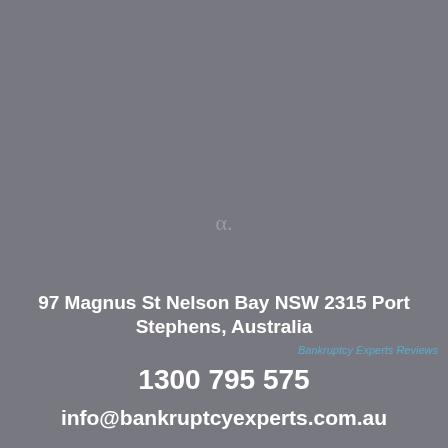[Figure (other): Greek alpha symbol (α) centered on a grey background, appearing faintly in a slightly lighter grey color]
97 Magnus St Nelson Bay NSW 2315 Port Stephens, Australia
Bankruptcy Experts Reviews
1300 795 575
info@bankruptcyexperts.com.au